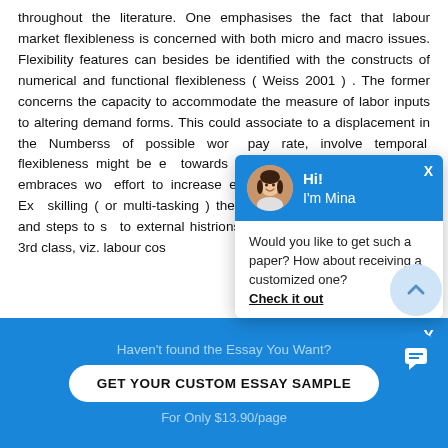throughout the literature. One emphasises the fact that labour market flexibleness is concerned with both micro and macro issues. Flexibility features can besides be identified with the constructs of numerical and functional flexibleness ( Weiss 2001 ) . The former concerns the capacity to accommodate the measure of labor inputs to altering demand forms. This could associate to a displacement in the Numberss of possible wor... pay rate, involve temporal... flexibleness might be e... towards non-standard em... by contrast, embraces wo... effort to increase efficienc... merchandise demand. Ex... skilling ( or multi-tasking )... the sweetening of em... workplace, and steps to s... to external histrions. Mo... basic model by adding a 3rd class, viz. labour cos...
[Figure (screenshot): Chat popup widget with avatar of a woman named Mina, blue header, and message asking if user wants a customized paper with a 'Check it out' link]
[Figure (screenshot): Bottom blue banner with call-to-action: 'Haven't found the Essay You Want?', button 'GET YOUR CUSTOM ESSAY SAMPLE', and 'For Only $13.90/page']